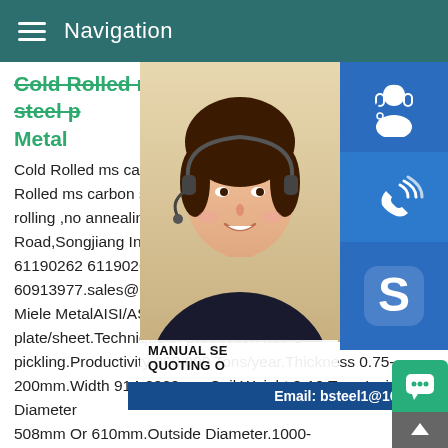Navigation
Cold Rolled ms carbon steel plate/sheet | Miele Metal
Cold Rolled ms carbon steel plate AISI/ASTM A36 - Cold Rolled ms carbon steel plate/sheet.Technique of production hot rolling ,no annealing ,acid pickling.Productivity 300,000 Tons/year.Road,Songjiang Industrial Zone,Shanghai 61190262 61190263 60919876 +86-21-60913977.sales@mielemetal.Cold Rolled Miele MetalAISI/ASTM A36 Hot rolled/Cold rolled plate/sheet.Technique of production hot rolling,acid pickling.Productivity 300,000 Tons/year.Thickness 0.75-200mm.Width 914-2000mm.Coil Weight 3-10 Tons.Inside Diameter 508mm Or 610mm.Outside Diameter.1000-1500mm.Standard ASTM A36,JISG3101,EN10025,ISO630,GB/T.Surface:China Structure ASTM A36 A283 S235jr Mild Carbon Building Material,Steel Sheet,Steel manufacturer / supplier in China,off
[Figure (photo): Woman wearing headset smiling, customer service representative photo]
[Figure (infographic): Blue icon box with customer service headset icon]
[Figure (infographic): Blue icon box with phone/signal icon]
[Figure (infographic): Blue icon box with Skype logo icon]
MANUAL SERVICE QUOTING ONLINE
Email: bsteel1@163.com